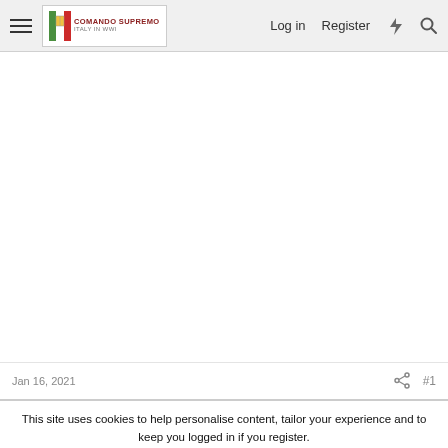Comando Supremo - Italy in WWI | Log in | Register
Jan 16, 2021  #1
This site uses cookies to help personalise content, tailor your experience and to keep you logged in if you register. By continuing to use this site, you are consenting to our use of cookies.